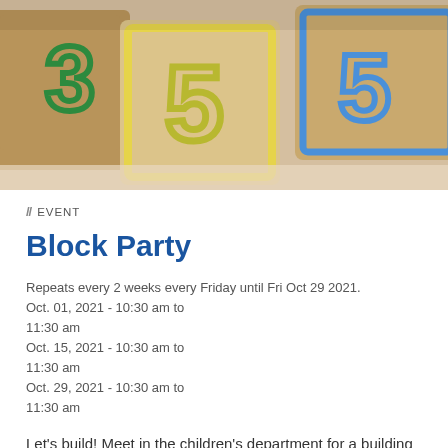[Figure (photo): Close-up photo of wooden alphabet/number building blocks with letters and numbers (3, 5) on them, in green and yellow colors]
// EVENT
Block Party
Repeats every 2 weeks every Friday until Fri Oct 29 2021. Oct. 01, 2021 - 10:30 am to 11:30 am Oct. 15, 2021 - 10:30 am to 11:30 am Oct. 29, 2021 - 10:30 am to 11:30 am
Let’s build! Meet in the children’s department for a building spree. Many different types of blocks will be on hand for littles. Appropriate for ages 2 to 6. No